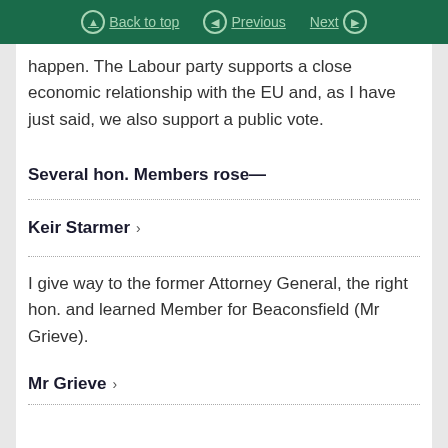Back to top  Previous  Next
happen. The Labour party supports a close economic relationship with the EU and, as I have just said, we also support a public vote.
Several hon. Members rose—
Keir Starmer >
I give way to the former Attorney General, the right hon. and learned Member for Beaconsfield (Mr Grieve).
Mr Grieve >